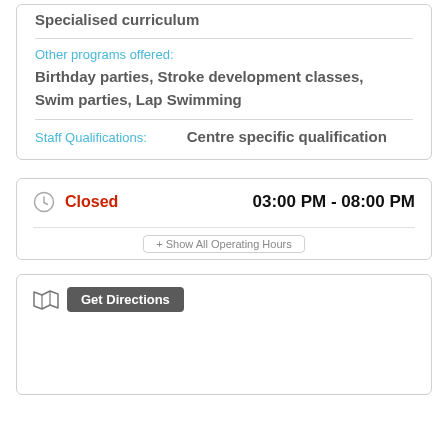Specialised curriculum
Other programs offered: Birthday parties, Stroke development classes, Swim parties, Lap Swimming
Staff Qualifications: Centre specific qualification
Closed   03:00 PM - 08:00 PM
+ Show All Operating Hours
Get Directions